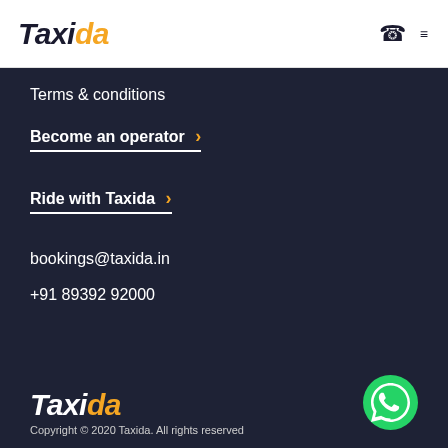Taxida
Terms & conditions
Become an operator ›
Ride with Taxida ›
bookings@taxida.in
+91 89392 92000
Taxida — Copyright © 2020 Taxida. All rights reserved